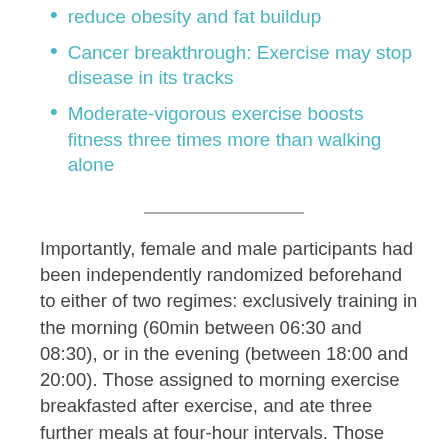reduce obesity and fat buildup
Cancer breakthrough: Exercise may stop disease in its tracks
Moderate-vigorous exercise boosts fitness three times more than walking alone
Importantly, female and male participants had been independently randomized beforehand to either of two regimes: exclusively training in the morning (60min between 06:30 and 08:30), or in the evening (between 18:00 and 20:00). Those assigned to morning exercise breakfasted after exercise, and ate three further meals at four-hour intervals. Those assigned to evening exercise ate three meals at four-hour intervals before